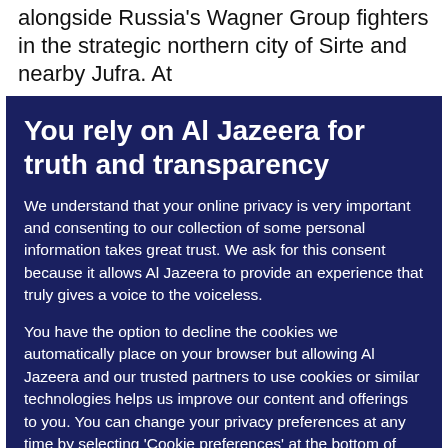alongside Russia's Wagner Group fighters in the strategic northern city of Sirte and nearby Jufra. At
You rely on Al Jazeera for truth and transparency
We understand that your online privacy is very important and consenting to our collection of some personal information takes great trust. We ask for this consent because it allows Al Jazeera to provide an experience that truly gives a voice to the voiceless.
You have the option to decline the cookies we automatically place on your browser but allowing Al Jazeera and our trusted partners to use cookies or similar technologies helps us improve our content and offerings to you. You can change your privacy preferences at any time by selecting 'Cookie preferences' at the bottom of your screen. To learn more, please view our Cookie Policy.